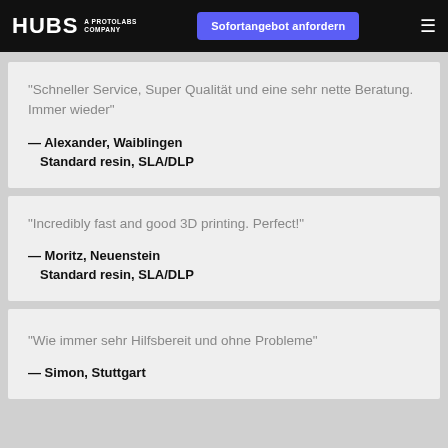HUBS A PROTOLABS COMPANY | Sofortangebot anfordern | ≡
“Schneller Service, Super Qualität und eine sehr nette Beratung. Immer wieder”
— Alexander, Waiblingen
    Standard resin, SLA/DLP
“Incredibly fast and good 3D printing. Perfect!”
— Moritz, Neuenstein
    Standard resin, SLA/DLP
“Wie immer sehr Hilfsbereit und ohne Probleme”
— Simon, Stuttgart